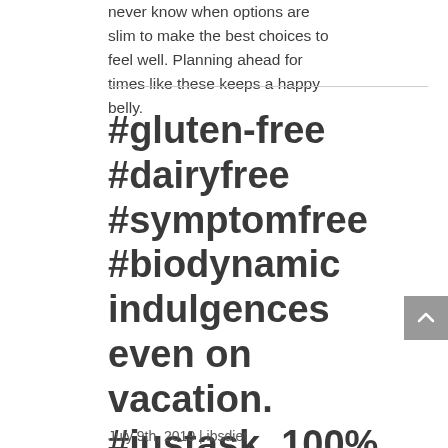never know when options are slim to make the best choices to feel well. Planning ahead for times like these keeps a happy belly.
#gluten-free #dairyfree #symptomfree #biodynamic indulgences even on vacation. #justask. 100% enjoyment. More after my travels on how to travel like a rockstar and feel good! #guthealthcoach
July 9th, 2019 | ibsdiet